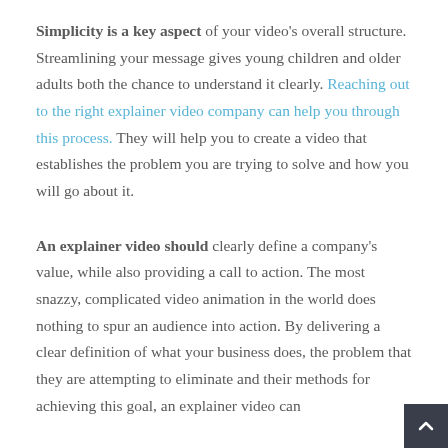Simplicity is a key aspect of your video's overall structure. Streamlining your message gives young children and older adults both the chance to understand it clearly. Reaching out to the right explainer video company can help you through this process. They will help you to create a video that establishes the problem you are trying to solve and how you will go about it.
An explainer video should clearly define a company's value, while also providing a call to action. The most snazzy, complicated video animation in the world does nothing to spur an audience into action. By delivering a clear definition of what your business does, the problem that they are attempting to eliminate and their methods for achieving this goal, an explainer video can